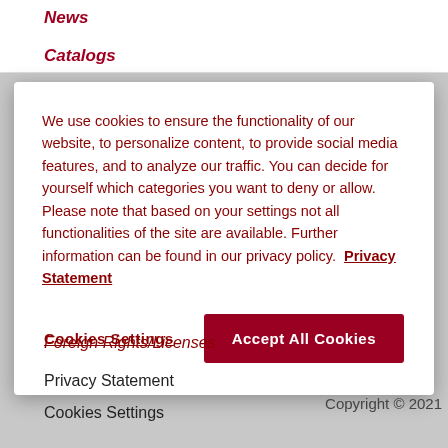News
Catalogs
We use cookies to ensure the functionality of our website, to personalize content, to provide social media features, and to analyze our traffic. You can decide for yourself which categories you want to deny or allow. Please note that based on your settings not all functionalities of the site are available. Further information can be found in our privacy policy.  Privacy Statement
Cookies Settings
Accept All Cookies
Foreign Rights/Licenses
Privacy Statement
Cookies Settings
Accessibility
Copyright © 2021